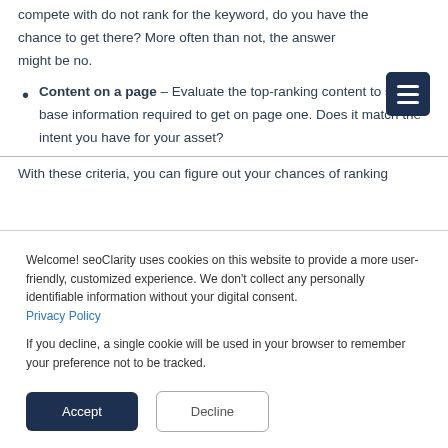compete with do not rank for the keyword, do you have the chance to get there? More often than not, the answer might be no.
Content on a page – Evaluate the top-ranking content to see the base information required to get on page one. Does it match the intent you have for your asset?
With these criteria, you can figure out your chances of ranking
Welcome! seoClarity uses cookies on this website to provide a more user-friendly, customized experience. We don't collect any personally identifiable information without your digital consent. Privacy Policy

If you decline, a single cookie will be used in your browser to remember your preference not to be tracked.